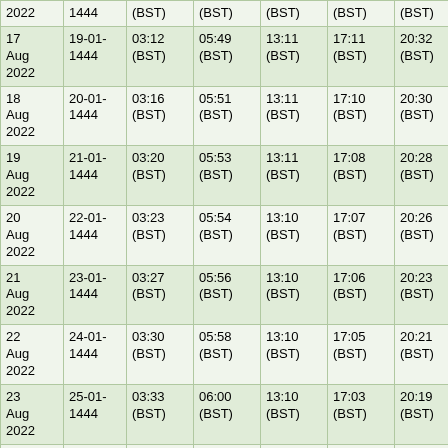| 2022 | 1444 | (BST) | (BST) | (BST) | (BST) | (BST) | (BST) |
| 17 Aug 2022 | 19-01-1444 | 03:12 (BST) | 05:49 (BST) | 13:11 (BST) | 17:11 (BST) | 20:32 (BST) | 20:32 (BST) |
| 18 Aug 2022 | 20-01-1444 | 03:16 (BST) | 05:51 (BST) | 13:11 (BST) | 17:10 (BST) | 20:30 (BST) | 20:30 (BST) |
| 19 Aug 2022 | 21-01-1444 | 03:20 (BST) | 05:53 (BST) | 13:11 (BST) | 17:08 (BST) | 20:28 (BST) | 20:28 (BST) |
| 20 Aug 2022 | 22-01-1444 | 03:23 (BST) | 05:54 (BST) | 13:10 (BST) | 17:07 (BST) | 20:26 (BST) | 20:26 (BST) |
| 21 Aug 2022 | 23-01-1444 | 03:27 (BST) | 05:56 (BST) | 13:10 (BST) | 17:06 (BST) | 20:23 (BST) | 20:23 (BST) |
| 22 Aug 2022 | 24-01-1444 | 03:30 (BST) | 05:58 (BST) | 13:10 (BST) | 17:05 (BST) | 20:21 (BST) | 20:21 (BST) |
| 23 Aug 2022 | 25-01-1444 | 03:33 (BST) | 06:00 (BST) | 13:10 (BST) | 17:03 (BST) | 20:19 (BST) | 20:19 (BST) |
| 24 Aug 2022 | 26-01-1444 | 03:37 (BST) | 06:01 (BST) | 13:09 (BST) | 17:02 (BST) | 20:16 (BST) | 20:16 (BST) |